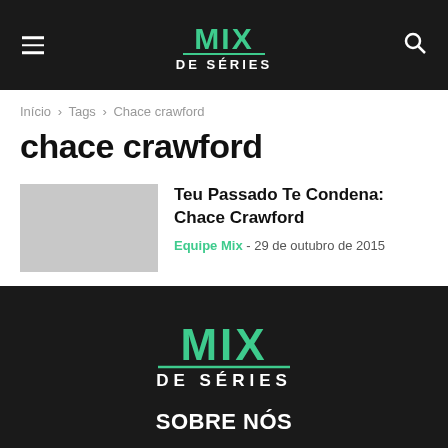MIX DE SÉRIES
Início › Tags › Chace crawford
chace crawford
Teu Passado Te Condena: Chace Crawford
Equipe Mix - 29 de outubro de 2015
[Figure (logo): Mix de Séries logo in green on dark background]
SOBRE NÓS